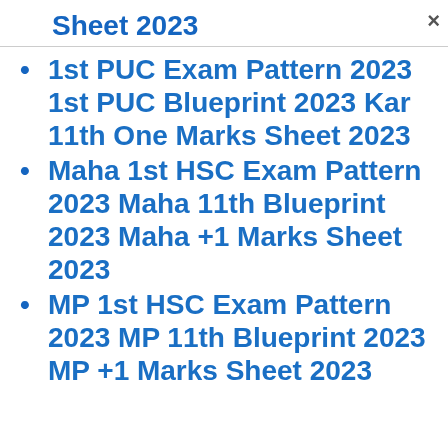Sheet 2023
1st PUC Exam Pattern 2023 1st PUC Blueprint 2023 Kar 11th One Marks Sheet 2023
Maha 1st HSC Exam Pattern 2023 Maha 11th Blueprint 2023 Maha +1 Marks Sheet 2023
MP 1st HSC Exam Pattern 2023 MP 11th Blueprint 2023 MP +1 Marks Sheet 2023